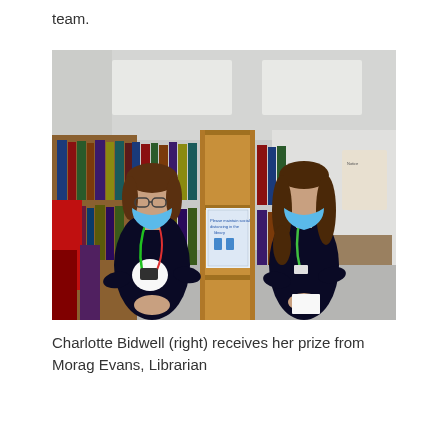team.
[Figure (photo): Two women wearing face masks standing in a library. The woman on the left wears a Christmas jumper with a snowman design and a colourful lanyard. The woman on the right has long brown hair, wears a dark top and a green lanyard, and is holding a card/envelope. Bookshelves with books are visible in the background, along with a social distancing sign on a wooden shelf unit.]
Charlotte Bidwell (right) receives her prize from Morag Evans, Librarian